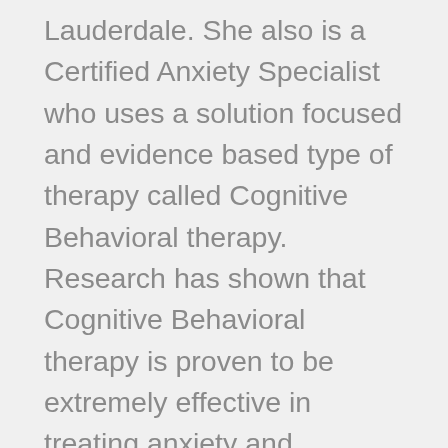Lauderdale. She also is a Certified Anxiety Specialist who uses a solution focused and evidence based type of therapy called Cognitive Behavioral therapy. Research has shown that Cognitive Behavioral therapy is proven to be extremely effective in treating anxiety and improving self-esteem. Roberta provides counseling services to her clients who live in Ft. Lauderdale and the surrounding South Florida areas in her office in downtown, and also through telehealth counseling via online video and phone sessions. She also provides coaching services to clients throughout the country via online video and phone sessions. If you want to learn the